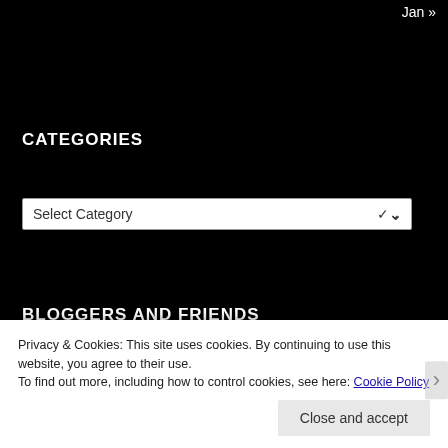Jan »
CATEGORIES
Select Category
BLOGGERS AND FRIENDS
Da Big Leap
Dirt Diva
Homestead Houligan
Privacy & Cookies: This site uses cookies. By continuing to use this website, you agree to their use.
To find out more, including how to control cookies, see here: Cookie Policy
Close and accept